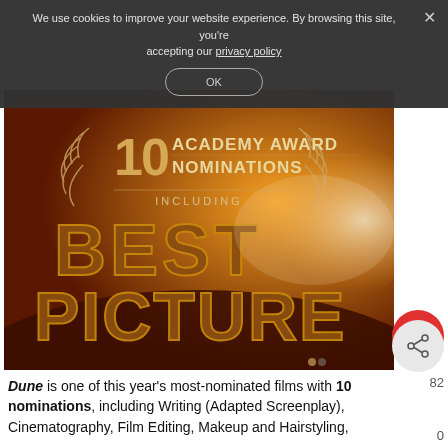We use cookies to improve your website experience. By browsing this site, you're accepting our privacy policy
[Figure (photo): Promotional image for Dune movie showing '10 ACADEMY AWARD NOMINATIONS INCLUDING BEST PICTURE' text on a warm amber desert background with dramatic lighting.]
Dune is one of this year's most-nominated films with 10 nominations, including Writing (Adapted Screenplay), Cinematography, Film Editing, Makeup and Hairstyling,